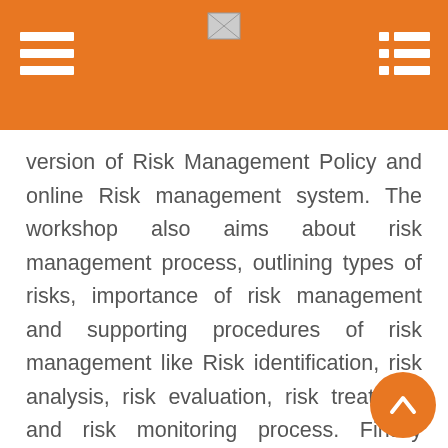version of Risk Management Policy and online Risk management system. The workshop also aims about risk management process, outlining types of risks, importance of risk management and supporting procedures of risk management like Risk identification, risk analysis, risk evaluation, risk treatment and risk monitoring process. Finally demonstration of Online risk management system using eservices of the institution website is done. After the presentation, the participants were asked to register the risk in online risk